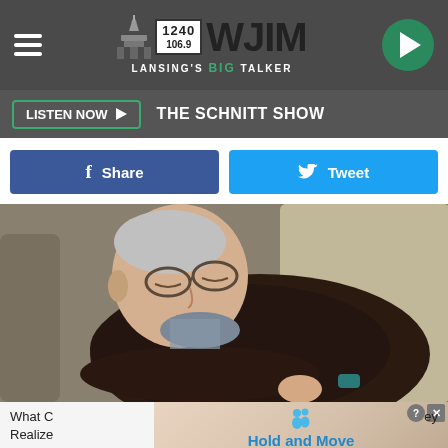WJIM 1240 / 106.9 — Lansing's Big Talker
LISTEN NOW ▶  THE SCHNITT SHOW
f Share   Tweet
[Figure (photo): Elderly man with glasses sleeping in an armchair, wearing a dark sweater with arms crossed]
What C... Realize... ey — Hold and Move (advertisement overlay)